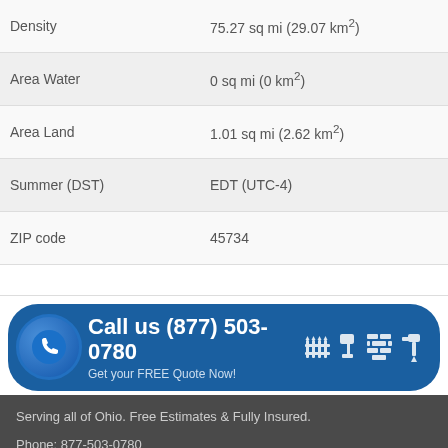| Field | Value |
| --- | --- |
| Density | 75.27 sq mi (29.07 km²) |
| Area Water | 0 sq mi (0 km²) |
| Area Land | 1.01 sq mi (2.62 km²) |
| Summer (DST) | EDT (UTC-4) |
| ZIP code | 45734 |
[Figure (infographic): Blue call-to-action banner: Call us (877) 503-0780, Get your FREE Quote Now!, with phone icon and tool icons]
Serving all of Ohio. Free Estimates & Fully Insured.
Phone: 877-503-0780
Graysville, OH 45734
Sitemap: A, B, C, D, E, F, G, H, I, J, K, L, M, N, O, P, Q, R, S, T, U, V, W, X, Y, Z